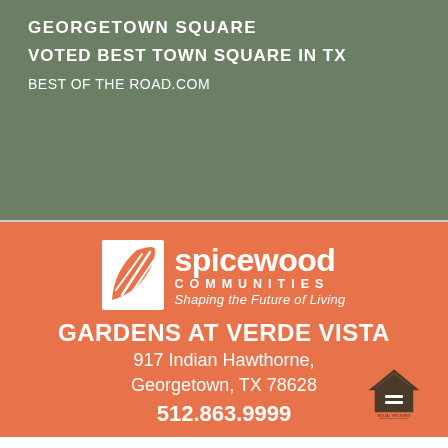GEORGETOWN SQUARE
VOTED BEST TOWN SQUARE IN TX
BEST OF THE ROAD.COM
[Figure (logo): Spicewood Communities logo with leaf icon, brand name, tagline 'Shaping the Future of Living']
GARDENS AT VERDE VISTA
917 Indian Hawthorne, Georgetown, TX 78628
512.863.9999